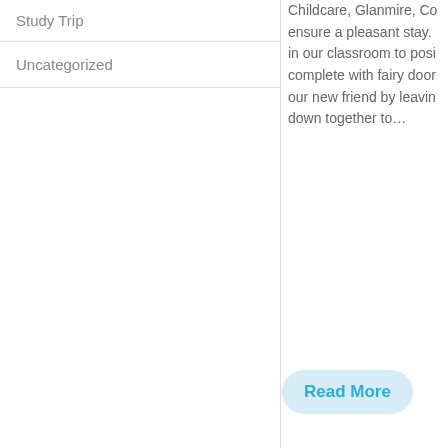Study Trip
Uncategorized
Childcare, Glanmire, Co ensure a pleasant stay. in our classroom to posi complete with fairy door our new friend by leavin down together to…
Read More
or bu
We use performance cookies to collect information about how visitors use the site. These cookies don't collect information that identifies a visitor. Learn more
Deny cookies
Allow cookies